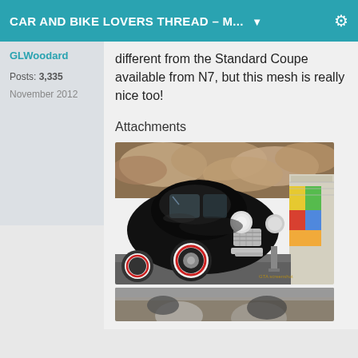CAR AND BIKE LOVERS THREAD – M... ▼
GLWoodard
Posts: 3,335
November 2012
different from the Standard Coupe available from N7, but this mesh is really nice too!
Attachments
[Figure (photo): A black vintage coupe (1940s style) with whitewall tires and chrome grille, parked in front of a graffiti wall with dramatic cloudy sky backdrop — appears to be a video game screenshot.]
[Figure (photo): Partial view of another car image, partially cut off at the bottom of the page.]